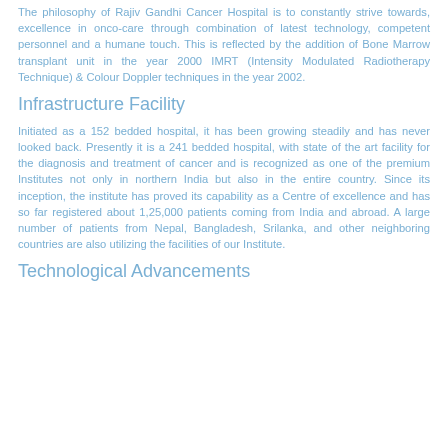The philosophy of Rajiv Gandhi Cancer Hospital is to constantly strive towards, excellence in onco-care through combination of latest technology, competent personnel and a humane touch. This is reflected by the addition of Bone Marrow transplant unit in the year 2000 IMRT (Intensity Modulated Radiotherapy Technique) & Colour Doppler techniques in the year 2002.
Infrastructure Facility
Initiated as a 152 bedded hospital, it has been growing steadily and has never looked back. Presently it is a 241 bedded hospital, with state of the art facility for the diagnosis and treatment of cancer and is recognized as one of the premium Institutes not only in northern India but also in the entire country. Since its inception, the institute has proved its capability as a Centre of excellence and has so far registered about 1,25,000 patients coming from India and abroad. A large number of patients from Nepal, Bangladesh, Srilanka, and other neighboring countries are also utilizing the facilities of our Institute.
Technological Advancements